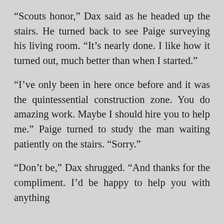“Scouts honor,” Dax said as he headed up the stairs. He turned back to see Paige surveying his living room. “It’s nearly done. I like how it turned out, much better than when I started.”
“I’ve only been in here once before and it was the quintessential construction zone. You do amazing work. Maybe I should hire you to help me.” Paige turned to study the man waiting patiently on the stairs. “Sorry.”
“Don’t be,” Dax shrugged. “And thanks for the compliment. I’d be happy to help you with anything